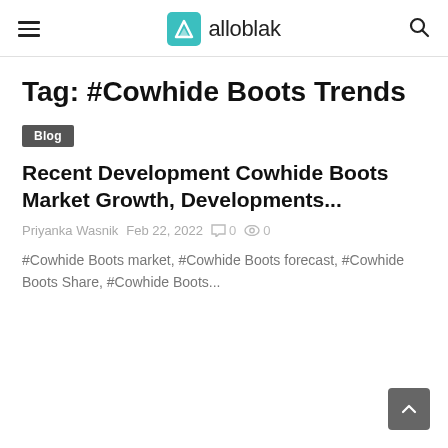alloblak
Tag: #Cowhide Boots Trends
Blog
Recent Development Cowhide Boots Market Growth, Developments...
Priyanka Wasnik  Feb 22, 2022  0  0
#Cowhide Boots market, #Cowhide Boots forecast, #Cowhide Boots Share, #Cowhide Boots...